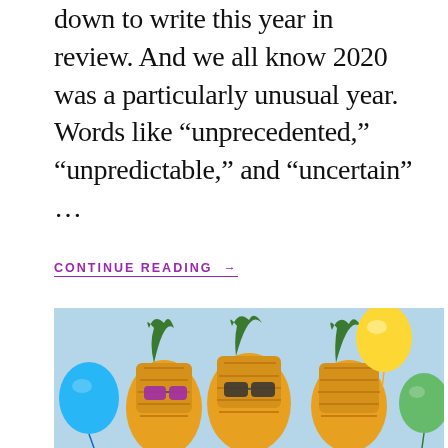down to write this year in review. And we all know 2020 was a particularly unusual year. Words like “unprecedented,” “unpredictable,” and “uncertain” …
CONTINUE READING →
FILED UNDER: WRITING
TAGGED WITH: CREATIVE MORNINGS, DIVERSITY & INCLUSION, FREELANCING, GREENHOUSE, LEARNING & DEVELOPMENT, PRODUCT TALK, PRODUCTBOARD, UDEMY FOR BUSINESS, WRITING
[Figure (photo): Photo of pineapples decorated with party sunglasses and colorful balloons (blue, yellow, green, purple) against a light blue background]